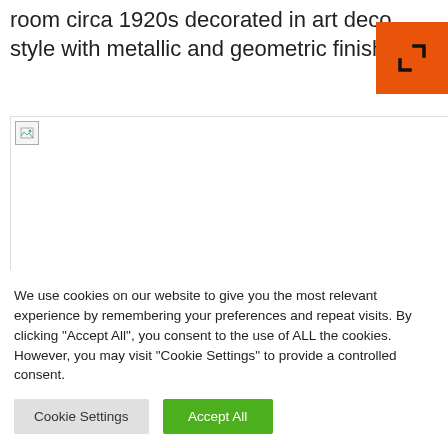room circa 1920s decorated in art deco style with metallic and geometric finishes
[Figure (photo): Broken image placeholder icon at top left of image region]
We use cookies on our website to give you the most relevant experience by remembering your preferences and repeat visits. By clicking "Accept All", you consent to the use of ALL the cookies. However, you may visit "Cookie Settings" to provide a controlled consent.